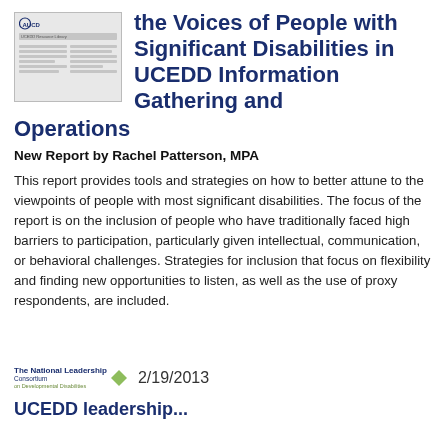[Figure (illustration): Thumbnail image of a document/report cover with AUCD logo at top, a label strip, and two-column text content below]
the Voices of People with Significant Disabilities in UCEDD Information Gathering and Operations
New Report by Rachel Patterson, MPA
This report provides tools and strategies on how to better attune to the viewpoints of people with most significant disabilities. The focus of the report is on the inclusion of people who have traditionally faced high barriers to participation, particularly given intellectual, communication, or behavioral challenges. Strategies for inclusion that focus on flexibility and finding new opportunities to listen, as well as the use of proxy respondents, are included.
[Figure (logo): The National Leadership Consortium on Developmental Disabilities logo with green diamond shape]
2/19/2013
UCEDD leadership...